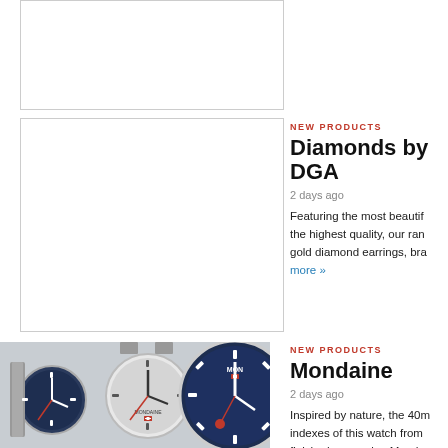[Figure (photo): Partial image placeholder at top of page, white rectangle with border]
NEW PRODUCTS
Diamonds by DGA
2 days ago
Featuring the most beautiful diamonds of the highest quality, our range includes gold diamond earrings, bra... Read more »
[Figure (photo): Empty white image placeholder for Diamonds by DGA article]
NEW PRODUCTS
Mondaine
2 days ago
Inspired by nature, the 40mm lume indexes of this watch from Mondaine are finished preserving Mondaine's iconic look. Read more »
[Figure (photo): Photo of Mondaine watches with metal mesh bands, blue and grey faces with red second hands]